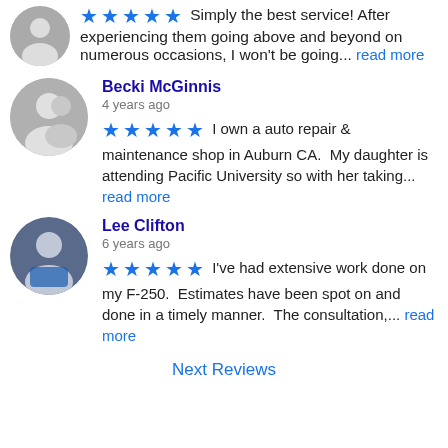Simply the best service! After experiencing them going above and beyond on numerous occasions, I won't be going... read more
Becki McGinnis
4 years ago
★★★★★ I own a auto repair & maintenance shop in Auburn CA.  My daughter is attending Pacific University so with her taking... read more
Lee Clifton
6 years ago
★★★★★ I've had extensive work done on my F-250.  Estimates have been spot on and done in a timely manner.  The consultation,... read more
Next Reviews